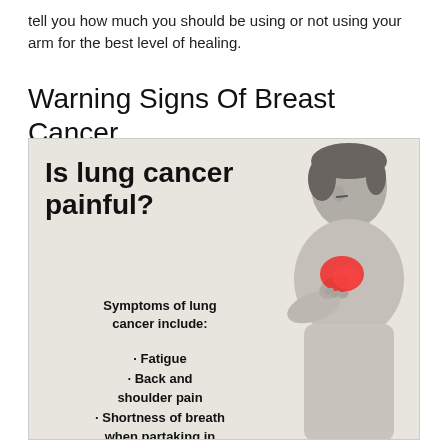tell you how much you should be using or not using your arm for the best level of healing.
Warning Signs Of Breast Cancer
[Figure (infographic): Infographic with beige/tan background showing a grayscale image of a person clutching their shoulder (with a red highlight on the shoulder area). Left side text reads: 'Is lung cancer painful?' in large bold font, followed by 'Symptoms of lung cancer include:' and bullet points: Fatigue, Back and shoulder pain, Shortness of breath when partaking in physical activity]